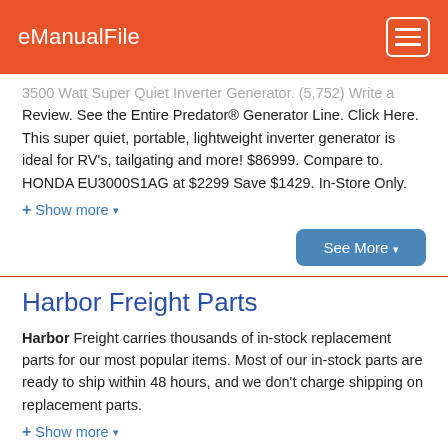eManualFile
3500 Watt Super Quiet Inverter Generator. (5,752) Write a Review. See the Entire Predator® Generator Line. Click Here. This super quiet, portable, lightweight inverter generator is ideal for RV's, tailgating and more! $86999. Compare to. HONDA EU3000S1AG at $2299 Save $1429. In-Store Only.
+ Show more ▼
See More ▼
Harbor Freight Parts
Harbor Freight carries thousands of in-stock replacement parts for our most popular items. Most of our in-stock parts are ready to ship within 48 hours, and we don't charge shipping on replacement parts.
+ Show more ▼
See More ▼